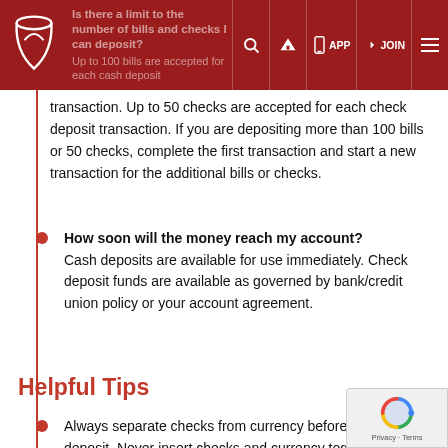Is there a limit to the number of bills and checks I can deposit? Up to 100 bills are accepted for each cash deposit transaction.
transaction. Up to 50 checks are accepted for each check deposit transaction. If you are depositing more than 100 bills or 50 checks, complete the first transaction and start a new transaction for the additional bills or checks.
How soon will the money reach my account? Cash deposits are available for use immediately. Check deposit funds are available as governed by bank/credit union policy or your account agreement.
Helpful Tips
Always separate checks from currency before making your deposit. Never insert checks and currency together. Improper insertion of currency and checks can cause a delay in deposit credit.
All bills must be in good condition. Do NOT insert bills with currency bands, currency straps, rubber bands or paper clips. Bring mutilated or taped bills to a branch.